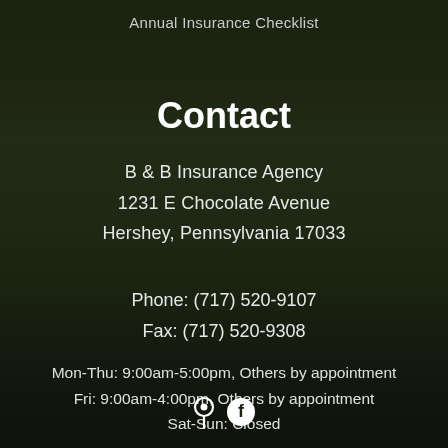Annual Insurance Checklist
Contact
B & B Insurance Agency
1231 E Chocolate Avenue
Hershey, Pennsylvania 17033
Phone: (717) 520-9107
Fax: (717) 520-9308
Mon-Thu: 9:00am-5:00pm, Others by appointment
Fri: 9:00am-4:00pm, Others by appointment
Sat-Sun: Closed
[Figure (illustration): Row of two icons: a map pin/location icon and a Facebook logo icon, white on dark background]